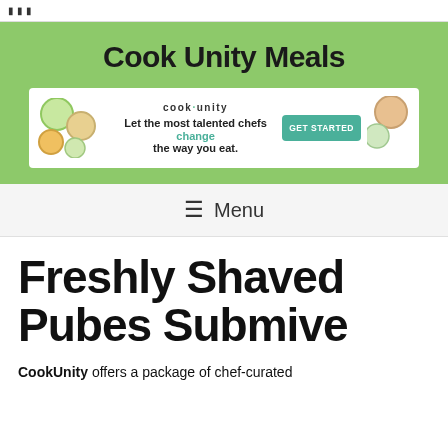≡ ≡ ≡
Cook Unity Meals
[Figure (infographic): CookUnity advertisement banner showing food images on left and right, 'cook·unity' logo, text 'Let the most talented chefs change the way you eat.' and a teal 'GET STARTED' button]
≡ Menu
Freshly Shaved Pubes Submive
CookUnity offers a package of chef-curated